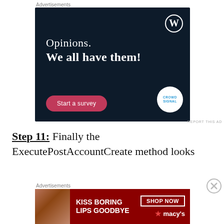[Figure (advertisement): WordPress/CrowdSignal advertisement with dark navy background. Shows WordPress 'W' logo in top-right, text 'Opinions. We all have them!', a pink 'Start a survey' button, and CrowdSignal circular logo. Label 'Advertisements' above.]
REPORT THIS AD
Step 11: Finally the ExecutePostAccountCreate method looks like below:
[Figure (advertisement): Macy's advertisement with red/dark background. Shows woman's face with red lips, text 'KISS BORING LIPS GOODBYE', 'SHOP NOW' button, and Macy's star logo. Label 'Advertisements' above.]